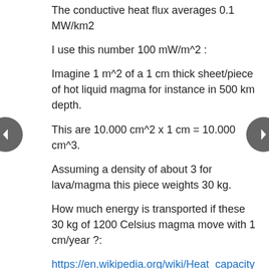The conductive heat flux averages 0.1 MW/km2
I use this number 100 mW/m^2 :
Imagine 1 m^2 of a 1 cm thick sheet/piece of hot liquid magma for instance in 500 km depth.
This are 10.000 cm^2 x 1 cm = 10.000 cm^3.
Assuming a density of about 3 for lava/magma this piece weights 30 kg.
How much energy is transported if these 30 kg of 1200 Celsius magma move with 1 cm/year ?:
https://en.wikipedia.org/wiki/Heat_capacity